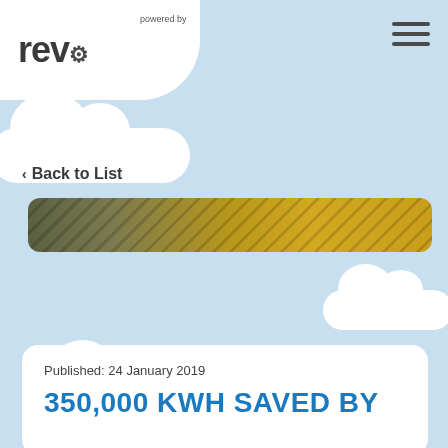rev [logo] powered by
‹ Back to List
[Figure (photo): Partial view of industrial equipment, yellow structure visible, ceiling with wires, photographed from below]
Published: 24 January 2019
350,000 KWH SAVED BY